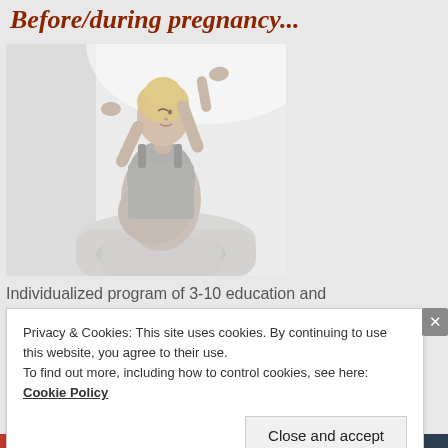Before/during pregnancy...
[Figure (photo): Pregnant woman with arms raised above her head, stretching, wearing a gray tank top and white pants, sitting on a white surface in a bright room]
Individualized program of 3-10 education and
Privacy & Cookies: This site uses cookies. By continuing to use this website, you agree to their use.
To find out more, including how to control cookies, see here: Cookie Policy
Close and accept